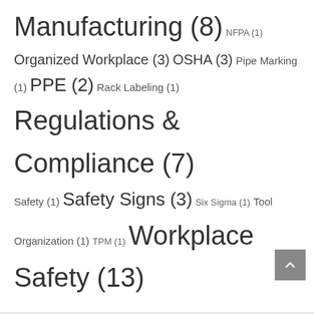Manufacturing (8) NFPA (1) Organized Workplace (3) OSHA (3) Pipe Marking (1) PPE (2) Rack Labeling (1) Regulations & Compliance (7) Safety (1) Safety Signs (3) Six Sigma (1) Tool Organization (1) TPM (1) Workplace Safety (13)
Recent Posts
How can Lean affect safety?
Utilizing Barcodes for Efficiency